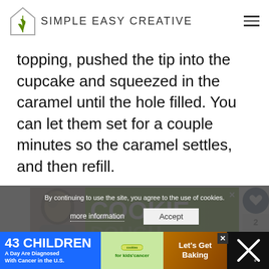SIMPLE EASY CREATIVE
topping, pushed the tip into the cupcake and squeezed in the caramel until the hole filled. You can let them set for a couple minutes so the caramel settles, and then refill.
[Figure (infographic): Green advertisement banner showing person with word COOKIE and subtext about children's cancer]
By continuing to use the site, you agree to the use of cookies.
[Figure (infographic): Bottom charity advertisement: 43 CHILDREN A Day Are Diagnosed With Cancer in the U.S. - Cookies for kids cancer - Let's Get Baking]